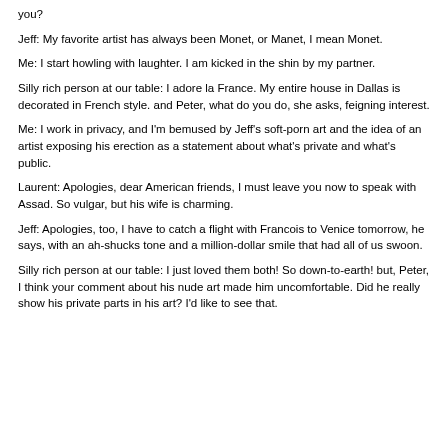you?
Jeff:  My favorite artist has always been Monet, or Manet, I mean Monet.
Me:  I start howling with laughter.  I am kicked in the shin by my partner.
Silly rich person at our table:  I adore la France.  My entire house in Dallas is decorated in French style.  and Peter, what do you do, she asks, feigning interest.
Me:  I work in privacy, and I'm bemused by Jeff's soft-porn art and the idea of an artist exposing his erection as a statement about what's private and what's public.
Laurent:  Apologies, dear American friends, I must leave you now to speak with Assad.  So vulgar, but his wife is charming.
Jeff:  Apologies, too, I have to catch a flight with Francois to Venice tomorrow, he says, with an ah-shucks tone and a million-dollar smile that had all of us swoon.
Silly rich person at our table:  I just loved them both!  So down-to-earth!  but, Peter, I think your comment about his nude art made him uncomfortable.  Did he really show his private parts in his art?  I'd like to see that.